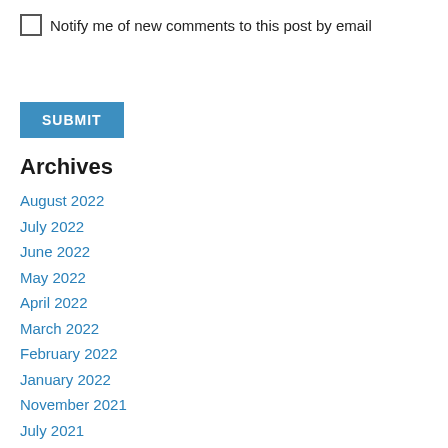Notify me of new comments to this post by email
SUBMIT
Archives
August 2022
July 2022
June 2022
May 2022
April 2022
March 2022
February 2022
January 2022
November 2021
July 2021
November 2020
October 2020